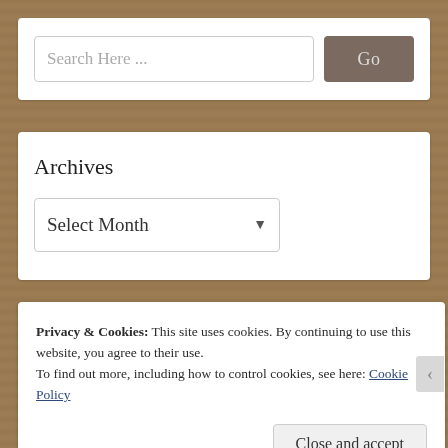Search Here ...
Go
Archives
Select Month
Privacy & Cookies: This site uses cookies. By continuing to use this website, you agree to their use.
To find out more, including how to control cookies, see here: Cookie Policy
Close and accept